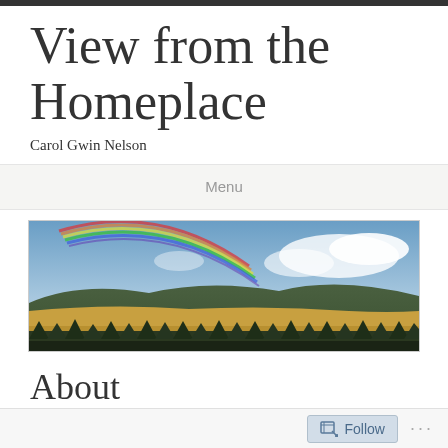View from the Homeplace
Carol Gwin Nelson
Menu
[Figure (photo): Panoramic landscape photograph showing a rainbow arching over golden wheat fields with forested hills and a partly cloudy blue sky in the background, with rows of small evergreen trees in the foreground.]
About
Follow ...